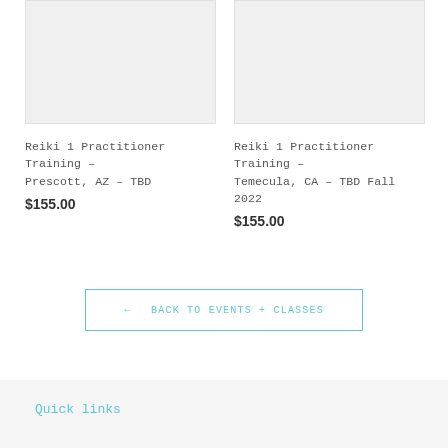[Figure (photo): Placeholder image for Reiki 1 Practitioner Training - Prescott AZ - light gray rectangle]
Reiki 1 Practitioner Training - Prescott, AZ - TBD
$155.00
[Figure (photo): Placeholder image for Reiki 1 Practitioner Training - Temecula CA - light gray rectangle]
Reiki 1 Practitioner Training - Temecula, CA - TBD Fall 2022
$155.00
← BACK TO EVENTS + CLASSES
Quick links